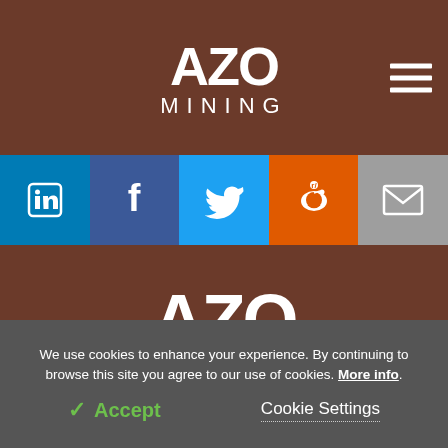AZO MINING
[Figure (infographic): Social share bar with LinkedIn, Facebook, Twitter, Reddit, and Email icons in colored blocks]
back to top ^
[Figure (logo): AZO MINING logo in white on brown background, large footer version]
[Figure (infographic): Footer social media icons: LinkedIn, Facebook, Twitter as white circles]
We use cookies to enhance your experience. By continuing to browse this site you agree to our use of cookies. More info.
✓ Accept
Cookie Settings